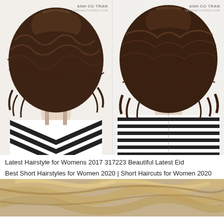[Figure (photo): Two side-by-side photos from behind of a woman with a short wavy brown bob haircut. Left photo shows a side-back angle with a black and white chevron/striped top. Right photo shows a straight back view with a black and white striped top. Both photos have 'ANH CO TRAN' watermark and 'TERANHCOTRAN.COM' website.]
Latest Hairstyle for Womens 2017 317223 Beautiful Latest Eid
Best Short Hairstyles for Women 2020 | Short Haircuts for Women 2020
[Figure (photo): Partial bottom photo showing the top of a woman's head with blonde wavy/layered hair, cropped at the bottom of the page.]